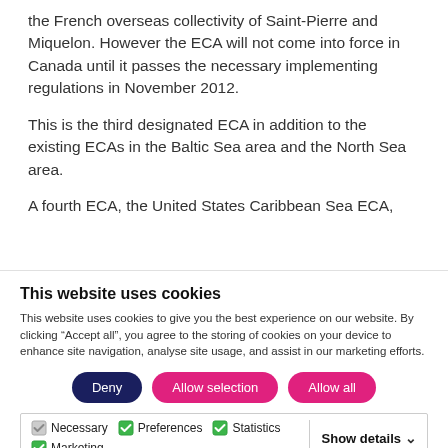the French overseas collectivity of Saint-Pierre and Miquelon.  However the ECA will not come into force in Canada until it passes the necessary implementing regulations in November 2012.
This is the third designated ECA in addition to the existing ECAs in the Baltic Sea area and the North Sea area.
A fourth ECA, the United States Caribbean Sea ECA,
This website uses cookies
This website uses cookies to give you the best experience on our website. By clicking “Accept all”, you agree to the storing of cookies on your device to enhance site navigation, analyse site usage, and assist in our marketing efforts.
Deny | Allow selection | Allow all
Necessary | Preferences | Statistics | Marketing | Show details